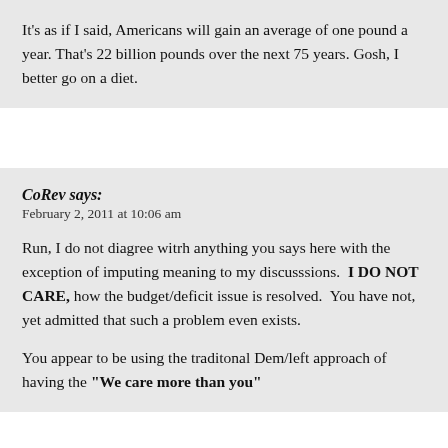It's as if I said, Americans will gain an average of one pound a year.  That's 22 billion pounds over the next 75 years.  Gosh, I better go on a diet.
CoRev says: February 2, 2011 at 10:06 am
Run, I do not diagree witrh anything you says here with the exception of imputing meaning to my discusssions.  I DO NOT CARE, how the budget/deficit issue is resolved.  You have not, yet admitted that such a problem even exists.
You appear to be using the traditonal Dem/left approach of having the "We care more than you"